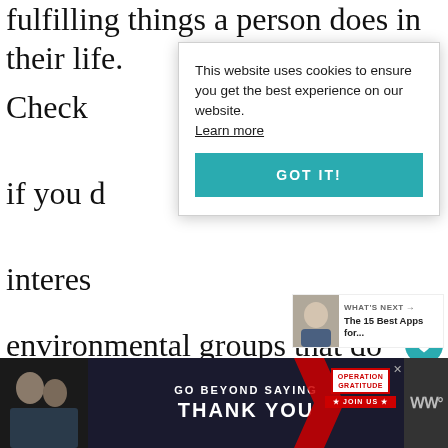fulfilling things a person does in their life.
Check if you do environmental groups that do regular cleanups of the local area, as well as organizations devoted to helping the homeless in your town, or childcare facilities that need help as well.
[Figure (screenshot): Cookie consent popup overlay: 'This website uses cookies to ensure you get the best experience on our website. Learn more' with a teal 'GOT IT!' button]
[Figure (infographic): WHAT'S NEXT arrow label with thumbnail image: 'The 15 Best Apps for...']
[Figure (infographic): Advertisement banner: 'GO BEYOND SAYING THANK YOU' Operation Gratitude JOIN US, with WW logo on right]